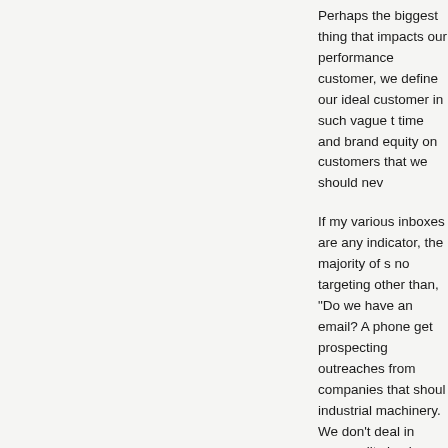Perhaps the biggest thing that impacts our performance customer, we define our ideal customer in such vague t time and brand equity on customers that we should nev
If my various inboxes are any indicator, the majority of s no targeting other than, "Do we have an email? A phone get prospecting outreaches from companies that shoul industrial machinery. We don't deal in commodity buyin healthcare company and don't buy medical devices/pha aren't interested in your products because Google, Mic Citicorp buy your products. We aren't interested in the e large consulting and professional services firms use. W consulting company.
We aren't your customer and you are wasting our time/ continuing to try and sell to us.
When I do reviews with clients, the one of the biggest is performance is sales people wasting too much time on ask, "What's your ideal customer profile," the response organizations, " or "Healthcare," or "Industrial Manufact When pressed, they may say, "Large financial services